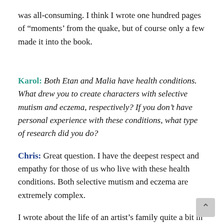was all-consuming. I think I wrote one hundred pages of “moments’ from the quake, but of course only a few made it into the book.
Karol: Both Etan and Malia have health conditions. What drew you to create characters with selective mutism and eczema, respectively? If you don’t have personal experience with these conditions, what type of research did you do?
Chris: Great question. I have the deepest respect and empathy for those of us who live with these health conditions. Both selective mutism and eczema are extremely complex.
I wrote about the life of an artist’s family quite a bit in All of Me. But there was one behavior that Ari didn’t express that Etan does in The Magical